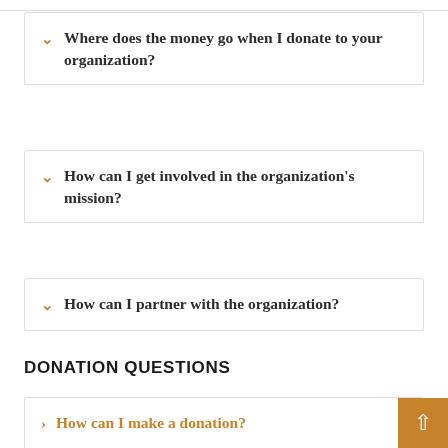Where does the money go when I donate to your organization?
How can I get involved in the organization's mission?
How can I partner with the organization?
DONATION QUESTIONS
How can I make a donation?